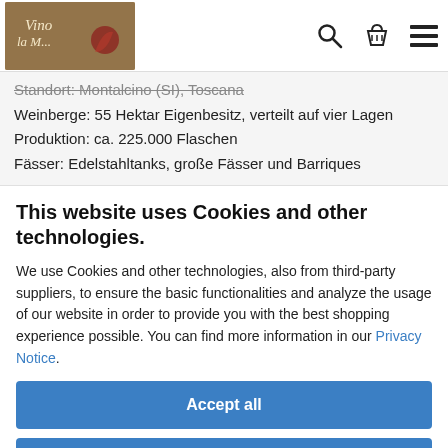Vino ... logo and navigation icons
Standort: Montalcino (SI), Toscana
Weinberge: 55 Hektar Eigenbesitz, verteilt auf vier Lagen
Produktion: ca. 225.000 Flaschen
Fässer: Edelstahltanks, große Fässer und Barriques
This website uses Cookies and other technologies.
We use Cookies and other technologies, also from third-party suppliers, to ensure the basic functionalities and analyze the usage of our website in order to provide you with the best shopping experience possible. You can find more information in our Privacy Notice.
Accept all
Only Essentials
More information